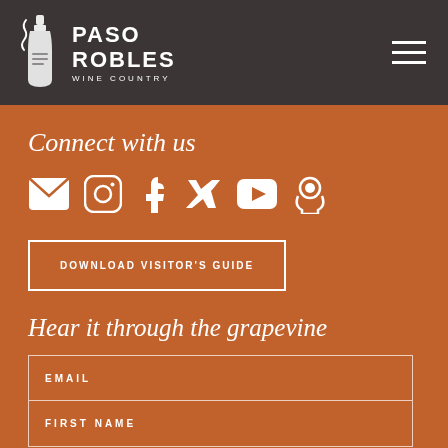[Figure (logo): Paso Robles Wine Country logo with bottle icon on dark brown header bar with hamburger menu icon]
Connect with us
[Figure (infographic): Social media icons row: email envelope, Instagram, Facebook, Twitter, YouTube, Podcast]
DOWNLOAD VISITOR'S GUIDE
Hear it through the grapevine
EMAIL
FIRST NAME